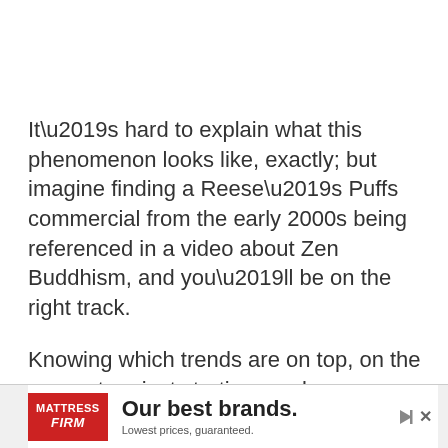It’s hard to explain what this phenomenon looks like, exactly; but imagine finding a Reese’s Puffs commercial from the early 2000s being referenced in a video about Zen Buddhism, and you’ll be on the right track.
Knowing which trends are on top, on the way out, or just starting can be an incredible aid in promoting any type of content.
[Figure (other): Mattress Firm advertisement banner reading 'Our best brands. Lowest prices, guaranteed.' with red logo on left and play/close controls on right.]